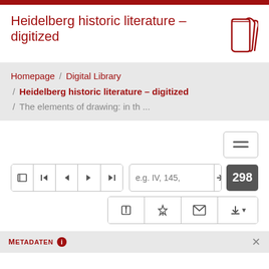Heidelberg historic literature – digitized
[Figure (logo): Stylized stacked books logo in dark red/maroon color]
Homepage / Digital Library / Heidelberg historic literature – digitized / The elements of drawing: in th ...
[Figure (screenshot): Navigation toolbar with menu button (hamburger icon), navigation buttons (list, first, prev, next, last), page input field with placeholder 'e.g. IV, 145,', go button (arrow), page number badge showing 298, and action buttons (pin, mail, download with dropdown)]
Metadaten